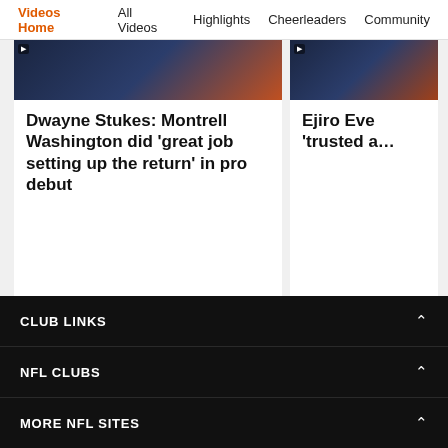Videos Home  All Videos  Highlights  Cheerleaders  Community
[Figure (screenshot): Partially visible video thumbnail showing a Denver Broncos player]
Dwayne Stukes: Montrell Washington did 'great job setting up the return' in pro debut
[Figure (screenshot): Partially visible video thumbnail on the right side]
Ejiro Eve 'trusted a…
[Figure (infographic): US Bank Broncos Visa card advertisement. Text: Are you a card carrying fan? Click here! Member FDIC]
CLUB LINKS
NFL CLUBS
MORE NFL SITES